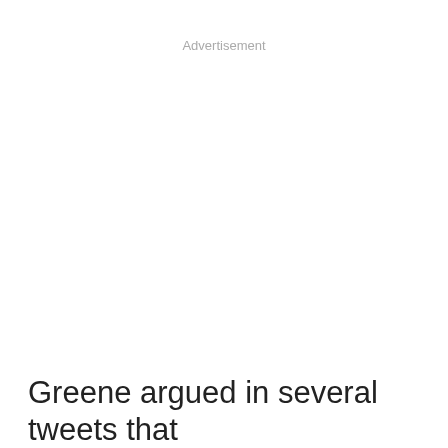Advertisement
Greene argued in several tweets that